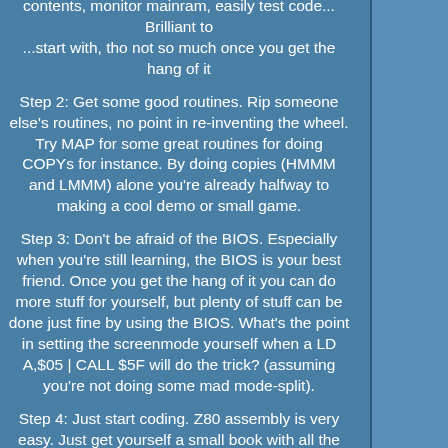contents, monitor mainram, easily test code... Brilliant to ...start with, tho not so much once you get the hang of it
Step 2: Get some good routines. Rip someone else's routines, no point in re-inventing the wheel. Try MAP for some great routines for doing COPYs for instance. By doing copies (HMMM and LMMM) alone you're already halfway to making a cool demo or small game.
Step 3: Don't be afraid of the BIOS. Especially when you're still learning, the BIOS is your best friend. Once you get the hang of it you can do more stuff for yourself, but plenty of stuff can be done just fine by using the BIOS. What's the point in setting the screenmode yourself when a LD A,$05 | CALL $5F will do the trick? (assuming you're not doing some mad mode-split).
Step 4: Just start coding. Z80 assembly is very easy. Just get yourself a small book with all the instructions, and you're set to go. It doesn't take a genius to know what LD A,(HL) or INC HL will do. You'll have your book to know which instructions affect flags or to know why LD DE,(HL) doesn't seem to work...
Step 5: Look at other people's code. Just look at stuff other people wrote. It's how I 'discovered' most of the